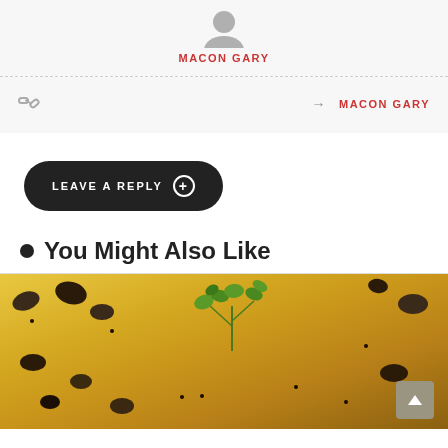[Figure (illustration): Gray circular avatar/profile icon at top center]
MACON GARY
[Figure (illustration): Chain link icon on the left side of nav row]
→ MACON GARY
LEAVE A REPLY ⊕
You Might Also Like
[Figure (photo): Close-up food photo showing yellow/golden pasta or polenta dish with dark olives, red pepper pieces, black pepper, and fresh green herb garnish]